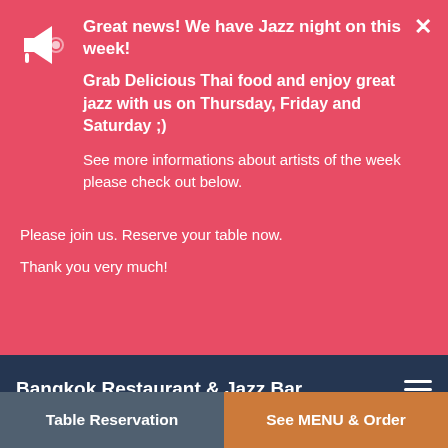Great news! We have Jazz night on this week! Grab Delicious Thai food and enjoy great jazz with us on Thursday, Friday and Saturday ;) See more informations about artists of the week please check out below. Please join us. Reserve your table now. Thank you very much!
Bangkok Restaurant & Jazz Bar
The personal data will be (mainly) stored in order to execute the agreement as well as for fiscal and/or legal purposes and additionally, specifically and without affecting the generality of the foregoing, the email address and the phone number (as and if the case may be) will be stored for
Table Reservation
See MENU & Order